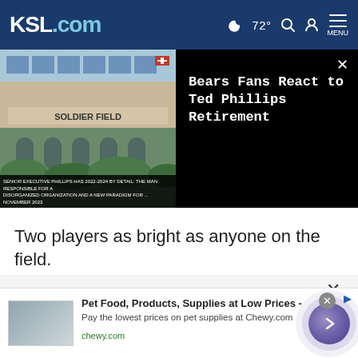KSL.com   72°  MENU
[Figure (screenshot): Video thumbnail showing Soldier Field exterior with news chyron bar at bottom, alongside black panel with title 'Bears Fans React to Ted Phillips Retirement' and an X close button]
Two players as bright as anyone on the field.
Two stellar athletes.
Cookie Notice
We use cookies to improve your experience, analyze site traffic, and to personalize content and ads. By continuing to use our site, you consent to our use of cookies. Please visit our Terms of Use and Privacy Policy for more information
[Figure (screenshot): Advertisement banner: Pet Food, Products, Supplies at Low Prices - Pay the lowest prices on pet supplies at Chewy.com, chewy.com]